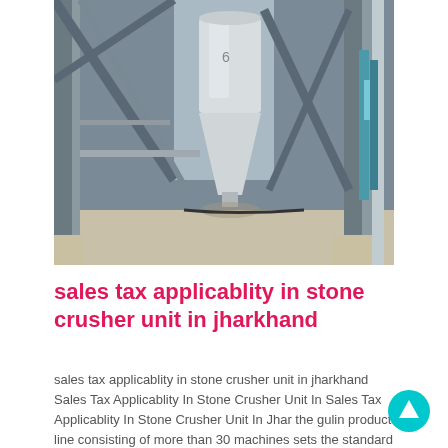[Figure (photo): Industrial stone crusher machinery with a large conical white hopper/silo surrounded by a steel frame structure and metal pipes, photographed indoors on a concrete floor.]
sales tax applicablity in stone crusher unit in jharkhand
sales tax applicablity in stone crusher unit in jharkhand Sales Tax Applicablity In Stone Crusher Unit In Sales Tax Applicablity In Stone Crusher Unit In Jhar the gulin product line consisting of more than 30 machines sets the standard for our industry we plan to help stone...